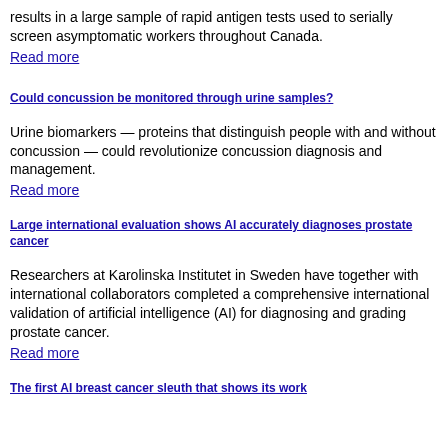results in a large sample of rapid antigen tests used to serially screen asymptomatic workers throughout Canada.
Read more
Could concussion be monitored through urine samples?
Urine biomarkers — proteins that distinguish people with and without concussion — could revolutionize concussion diagnosis and management.
Read more
Large international evaluation shows AI accurately diagnoses prostate cancer
Researchers at Karolinska Institutet in Sweden have together with international collaborators completed a comprehensive international validation of artificial intelligence (AI) for diagnosing and grading prostate cancer.
Read more
The first AI breast cancer sleuth that shows its work